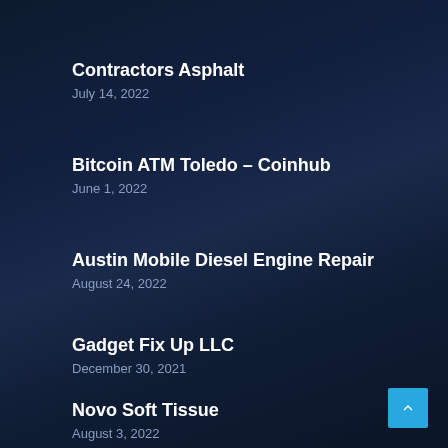Contractors Asphalt
July 14, 2022
Bitcoin ATM Toledo – Coinhub
June 1, 2022
Austin Mobile Diesel Engine Repair
August 24, 2022
Gadget Fix Up LLC
December 30, 2021
Novo Soft Tissue
August 3, 2022